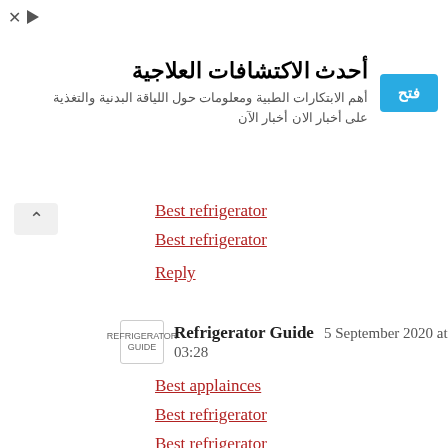[Figure (infographic): Arabic language advertisement banner with cyan/blue 'فتح' button, title 'أحدث الاكتشافات العلاجية' and subtitle about medical innovations and physical fitness news.]
Best refrigerator
Best refrigerator
Reply
Refrigerator Guide  5 September 2020 at 03:28
Best applainces
Best refrigerator
Best refrigerator
Best refrigerator
Best
Best
Best
Best refrigerator
Best refrigerator